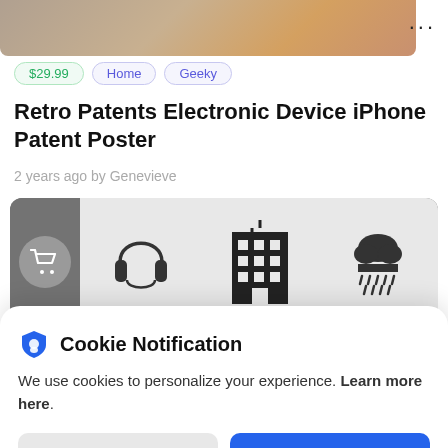[Figure (photo): Partial product image showing a wooden surface or background, cropped at top]
$29.99  Home  Geeky
Retro Patents Electronic Device iPhone Patent Poster
2 years ago by Genevieve
[Figure (screenshot): App icon strip showing a cart icon in a grey circle on dark background, followed by icons of headphones, buildings, and cloud on light background]
Cookie Notification
We use cookies to personalize your experience. Learn more here.
I Don't Accept  |  I Accept